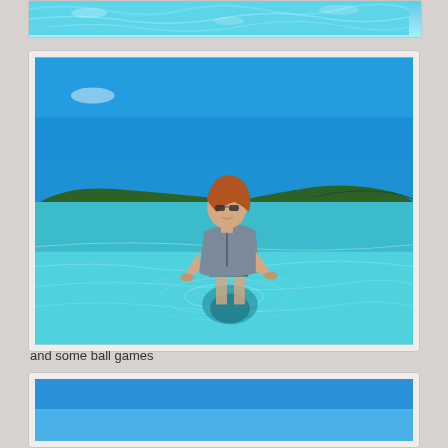[Figure (photo): Partial top photo showing turquoise water with light reflections, cropped at top of page]
[Figure (photo): Woman in grey swimsuit standing in clear turquoise shallow water of a lake, with green tree-covered hills and blue sky in background]
and some ball games
[Figure (photo): Partial bottom photo showing blue sky, beginning of another photo cropped at bottom of page]